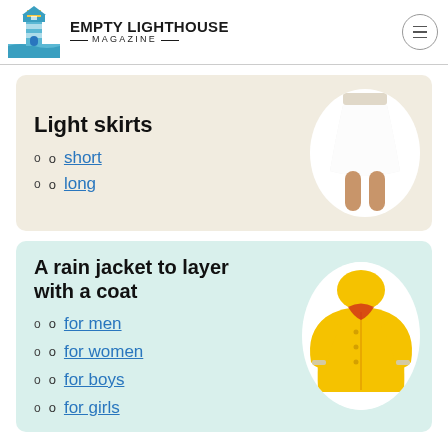EMPTY LIGHTHOUSE MAGAZINE
Light skirts
short
long
[Figure (photo): White mini skirt on a model, cropped, displayed in oval frame]
A rain jacket to layer with a coat
for men
for women
for boys
for girls
[Figure (photo): Yellow rain jacket displayed in oval frame]